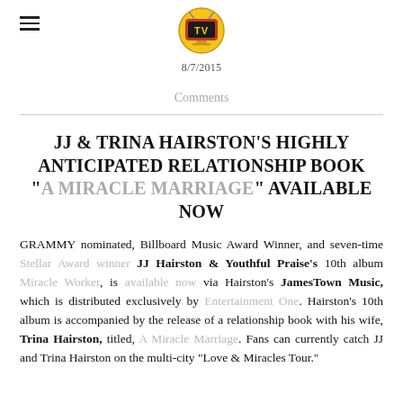8/7/2015
Comments
JJ & TRINA HAIRSTON'S HIGHLY ANTICIPATED RELATIONSHIP BOOK "A MIRACLE MARRIAGE" AVAILABLE NOW
GRAMMY nominated, Billboard Music Award Winner, and seven-time Stellar Award winner JJ Hairston & Youthful Praise's 10th album Miracle Worker, is available now via Hairston's JamesTown Music, which is distributed exclusively by Entertainment One. Hairston's 10th album is accompanied by the release of a relationship book with his wife, Trina Hairston, titled, A Miracle Marriage. Fans can currently catch JJ and Trina Hairston on the multi-city "Love & Miracles Tour."